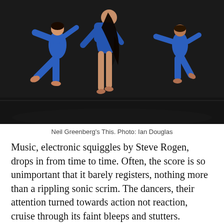[Figure (photo): Three dancers in blue outfits performing on a dark stage. One dancer in the center leans back dramatically with long dark hair flowing, while two others pose in the background.]
Neil Greenberg's This. Photo: Ian Douglas
Music, electronic squiggles by Steve Rogen, drops in from time to time. Often, the score is so unimportant that it barely registers, nothing more than a rippling sonic scrim. The dancers, their attention turned towards action not reaction, cruise through its faint bleeps and stutters.
This, which lasts for almost an hour (a solo by